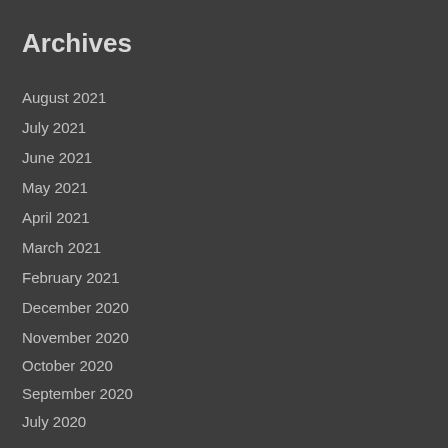Archives
August 2021
July 2021
June 2021
May 2021
April 2021
March 2021
February 2021
December 2020
November 2020
October 2020
September 2020
July 2020
Tags